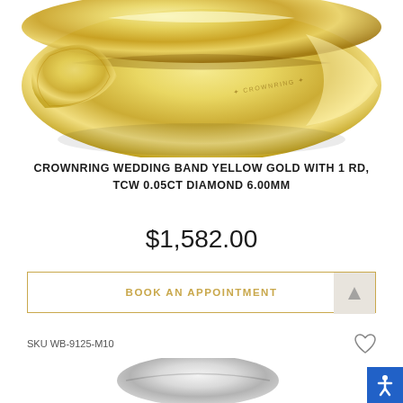[Figure (photo): Yellow gold wedding band ring (CrownRing brand) photographed at an angle on white background, showing engraved CrownRing logo on inner band]
CROWNRING WEDDING BAND YELLOW GOLD WITH 1 RD, TCW 0.05CT DIAMOND 6.00MM
$1,582.00
BOOK AN APPOINTMENT
SKU WB-9125-M10
[Figure (photo): Partial view of a silver/white gold wedding band ring at the bottom of the page]